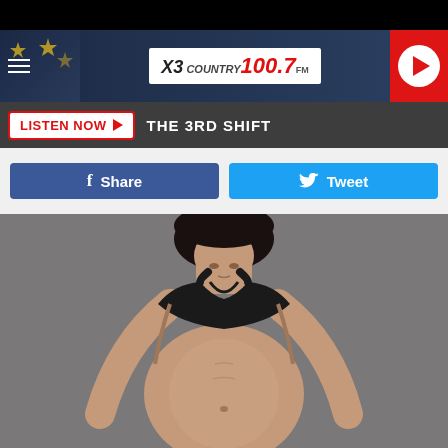[Figure (screenshot): Website header for X3 Country 100.7 FM radio station with hamburger menu, logo, and red play button]
LISTEN NOW ▶  THE 3RD SHIFT
[Figure (screenshot): Facebook Share button (blue) and Twitter Tweet button (light blue)]
[Figure (photo): Woman in black sports bra leaning forward, fitness photo on grey background]